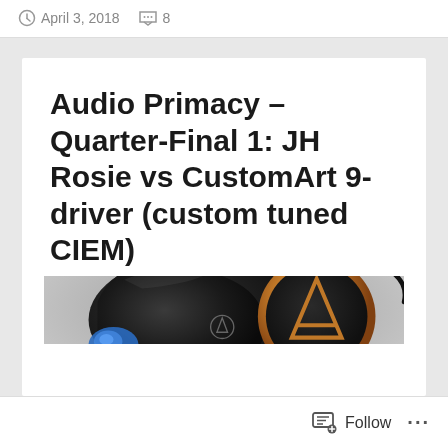April 3, 2018   8
Audio Primacy – Quarter-Final 1: JH Rosie vs CustomArt 9-driver (custom tuned CIEM)
[Figure (photo): Close-up photo of JH Audio in-ear monitor (IEM/CIEM) with black shell, copper/bronze colored ring faceplate with a triangular logo, and a blue ear tip visible on the side, with a dark cable attached.]
Follow   ...